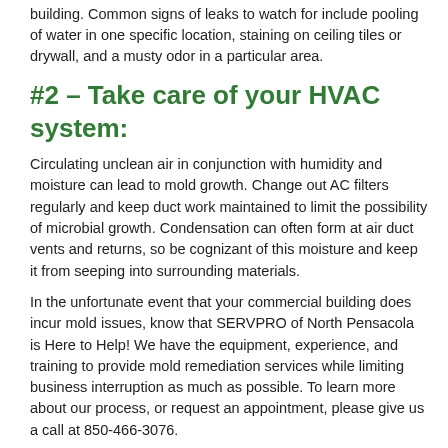building. Common signs of leaks to watch for include pooling of water in one specific location, staining on ceiling tiles or drywall, and a musty odor in a particular area.
#2 – Take care of your HVAC system:
Circulating unclean air in conjunction with humidity and moisture can lead to mold growth. Change out AC filters regularly and keep duct work maintained to limit the possibility of microbial growth. Condensation can often form at air duct vents and returns, so be cognizant of this moisture and keep it from seeping into surrounding materials.
In the unfortunate event that your commercial building does incur mold issues, know that SERVPRO of North Pensacola is Here to Help! We have the equipment, experience, and training to provide mold remediation services while limiting business interruption as much as possible. To learn more about our process, or request an appointment, please give us a call at 850-466-3076.
Reduce the Risk of